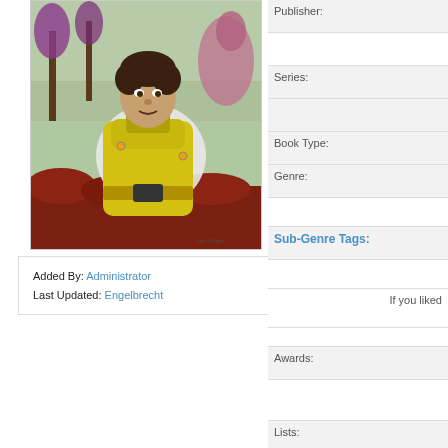[Figure (illustration): Book cover illustration showing a man in a yellow hazmat/space suit with a priest's collar, standing in front of palm trees and alien/fantasy creatures in a surreal landscape]
Added By: Administrator
Last Updated: Engelbrecht
Publisher:
Series:
Book Type:
Genre:
Sub-Genre Tags:
If you liked
Awards:
Lists:
Links:
Avg Member Rating: